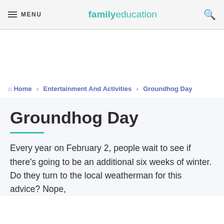MENU | familyeducation
[Advertisement area]
Home › Entertainment And Activities › Groundhog Day
Groundhog Day
Every year on February 2, people wait to see if there's going to be an additional six weeks of winter. Do they turn to the local weatherman for this advice? Nope.